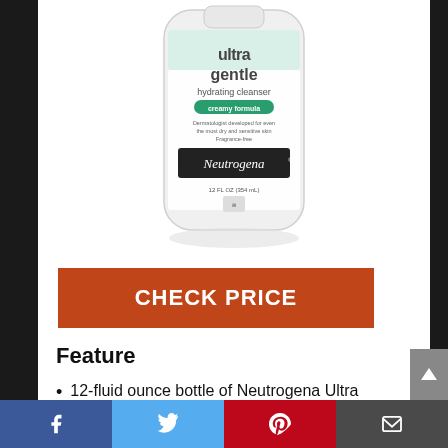[Figure (photo): Neutrogena Ultra Gentle Hydrating Cleanser 12 fl oz bottle with white and green label, creamy formula, on white background]
CHECK PRICE
Feature
12-fluid ounce bottle of Neutrogena Ultra Gentle Hydrating Cleanser for sensitive skin effective but gentle
Facebook | Twitter | Pinterest | Email